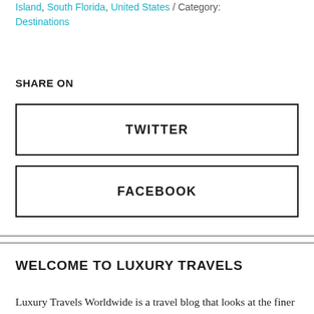Island, South Florida, United States / Category: Destinations
SHARE ON
TWITTER
FACEBOOK
WELCOME TO LUXURY TRAVELS
Luxury Travels Worldwide is a travel blog that looks at the finer things this world has to offer from luxury resorts and hotels to bespoke tours and adventure